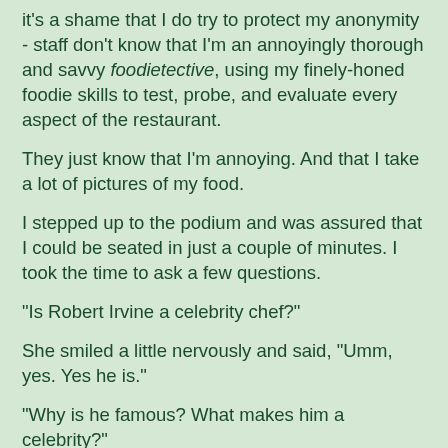it's a shame that I do try to protect my anonymity - staff don't know that I'm an annoyingly thorough and savvy foodietective, using my finely-honed foodie skills to test, probe, and evaluate every aspect of the restaurant.
They just know that I'm annoying. And that I take a lot of pictures of my food.
I stepped up to the podium and was assured that I could be seated in just a couple of minutes. I took the time to ask a few questions.
"Is Robert Irvine a celebrity chef?"
She smiled a little nervously and said, "Umm, yes. Yes he is."
"Why is he famous? What makes him a celebrity?"
She smiled even more nervously, the kind of smile you smile when you are being asked annoying questions by an annoying man.